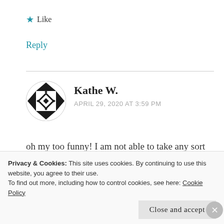★ Like
Reply
[Figure (illustration): Circular avatar with black and white geometric snowflake/star pattern]
Kathe W.
APRIL 29, 2020 AT 3:59 PM
oh my too funny! I am not able to take any sort of meds like Xanax...don't think I would want to any way. A glass of wine with a good dinner is much
Privacy & Cookies: This site uses cookies. By continuing to use this website, you agree to their use.
To find out more, including how to control cookies, see here: Cookie Policy
Close and accept